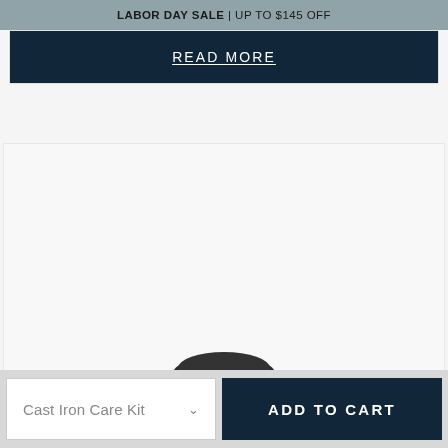LABOR DAY SALE | UP TO $145 OFF
READ MORE
[Figure (photo): Product image showing a dark cast iron item (hat/lid shape visible at bottom), on a light background with a circular help/info button in the lower right corner]
Cast Iron Care Kit
ADD TO CART